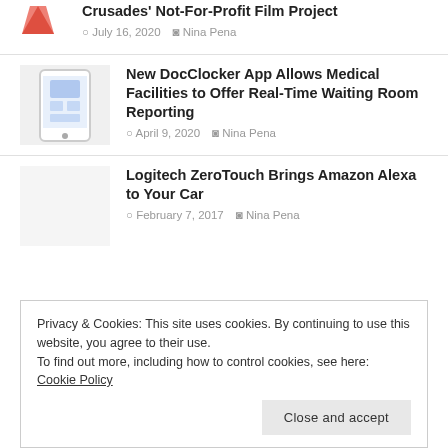Crusades' Not-For-Profit Film Project
July 16, 2020  Nina Pena
New DocClocker App Allows Medical Facilities to Offer Real-Time Waiting Room Reporting
April 9, 2020  Nina Pena
Logitech ZeroTouch Brings Amazon Alexa to Your Car
February 7, 2017  Nina Pena
Privacy & Cookies: This site uses cookies. By continuing to use this website, you agree to their use.
To find out more, including how to control cookies, see here: Cookie Policy